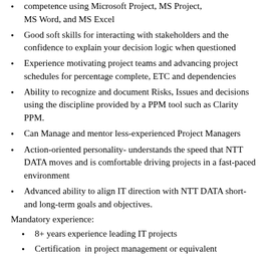competence using Microsoft Project, MS Project, MS Word, and MS Excel
Good soft skills for interacting with stakeholders and the confidence to explain your decision logic when questioned
Experience motivating project teams and advancing project schedules for percentage complete, ETC and dependencies
Ability to recognize and document Risks, Issues and decisions using the discipline provided by a PPM tool such as Clarity PPM.
Can Manage and mentor less-experienced Project Managers
Action-oriented personality- understands the speed that NTT DATA moves and is comfortable driving projects in a fast-paced environment
Advanced ability to align IT direction with NTT DATA short-and long-term goals and objectives.
Mandatory experience:
8+ years experience leading IT projects
Certification  in project management or equivalent